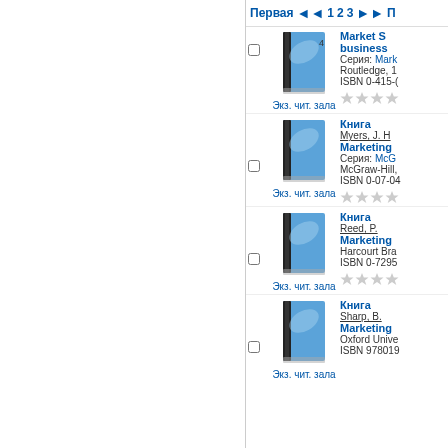Первая  ◄◄  1  2  3  ►► П
[Figure (illustration): Blue book icon with checkbox and label Экз. чит. зала - entry 1]
Книга
Myers, J. H.
Marketing
Серия: McGraw-
McGraw-Hill,
ISBN 0-07-04
[Figure (illustration): Blue book icon with checkbox and label Экз. чит. зала - entry 2]
Книга
Reed, P.
Marketing
Harcourt Bra
ISBN 0-7295
[Figure (illustration): Blue book icon with checkbox and label Экз. чит. зала - entry 3]
Книга
Sharp, B.
Marketing
Oxford Unive
ISBN 978019